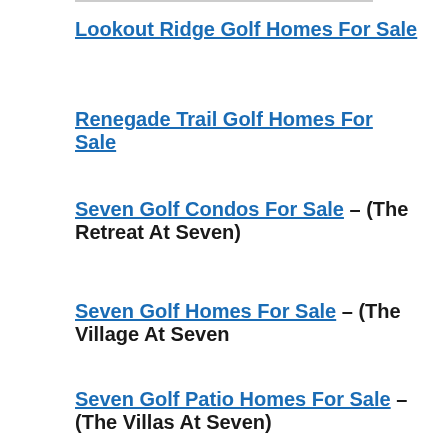Lookout Ridge Golf Homes For Sale
Renegade Trail Golf Homes For Sale
Seven Golf Condos For Sale – (The Retreat At Seven)
Seven Golf Homes For Sale – (The Village At Seven
Seven Golf Patio Homes For Sale – (The Villas At Seven)
Seven Cottages Golf Homes For Sale